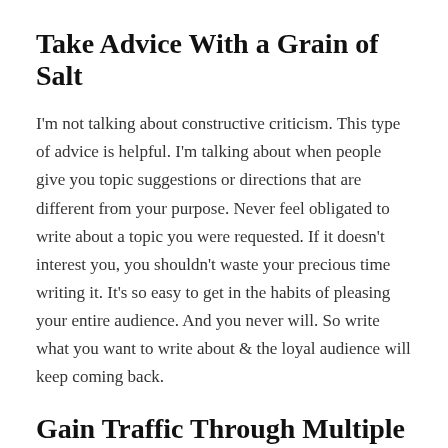Take Advice With a Grain of Salt
I'm not talking about constructive criticism. This type of advice is helpful. I'm talking about when people give you topic suggestions or directions that are different from your purpose. Never feel obligated to write about a topic you were requested. If it doesn't interest you, you shouldn't waste your precious time writing it. It's so easy to get in the habits of pleasing your entire audience. And you never will. So write what you want to write about & the loyal audience will keep coming back.
Gain Traffic Through Multiple Platforms
I started off merely focusing on WordPress & other pages. After about a month, I realized I needed to expand to other social media if I wanted to reach a bigger audience. Continued...